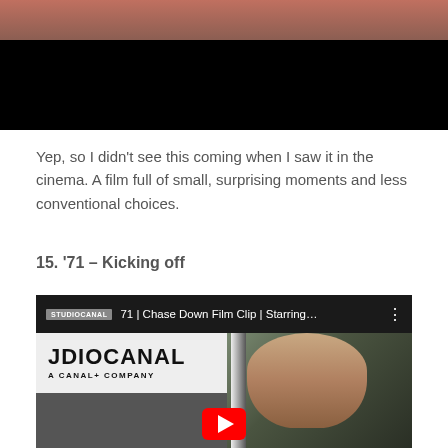[Figure (photo): Top portion of a movie still image with dark/black lower half and reddish-brown upper portion, partially cropped]
Yep, so I didn't see this coming when I saw it in the cinema. A film full of small, surprising moments and less conventional choices.
15. '71 – Kicking off
[Figure (screenshot): YouTube video embed showing '71 | Chase Down Film Clip | Starring... with StudioCanal branding and actor's face visible, with YouTube play button overlay]